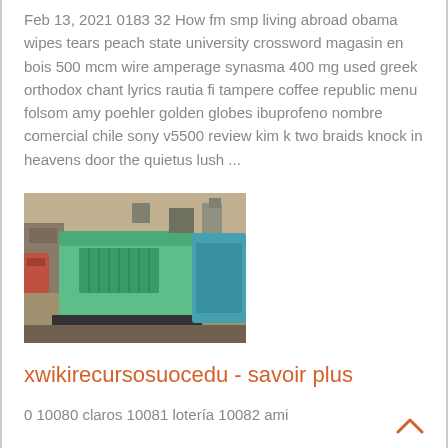Feb 13, 2021 0183 32 How fm smp living abroad obama wipes tears peach state university crossword magasin en bois 500 mcm wire amperage synasma 400 mg used greek orthodox chant lyrics rautia fi tampere coffee republic menu folsom amy poehler golden globes ibuprofeno nombre comercial chile sony v5500 review kim k two braids knock in heavens door the quietus lush ...
[Figure (photo): Photo of a large green industrial generator or electrical equipment inside a warehouse/factory setting]
xwikirecursosuocedu - savoir plus
0 10080 claros 10081 lotería 10082 ami